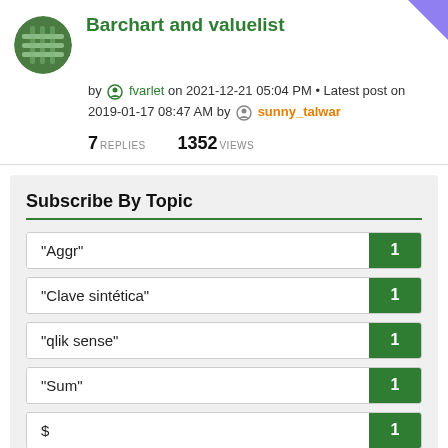Barchart and valuelist
by fvarlet on 2021-12-21 05:04 PM • Latest post on 2019-01-17 08:47 AM by sunny_talwar
7 REPLIES   1352 VIEWS
Subscribe By Topic
"Aggr"  1
"Clave sintética"  1
"qlik sense"  1
"Sum"  1
$  1